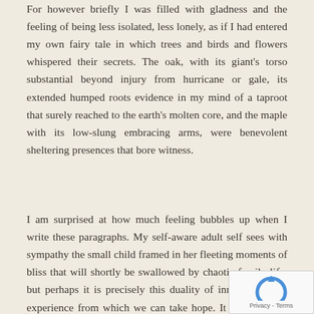For however briefly I was filled with gladness and the feeling of being less isolated, less lonely, as if I had entered my own fairy tale in which trees and birds and flowers whispered their secrets. The oak, with its giant's torso substantial beyond injury from hurricane or gale, its extended humped roots evidence in my mind of a taproot that surely reached to the earth's molten core, and the maple with its low-slung embracing arms, were benevolent sheltering presences that bore witness.
I am surprised at how much feeling bubbles up when I write these paragraphs. My self-aware adult self sees with sympathy the small child framed in her fleeting moments of bliss that will shortly be swallowed by chaotic family life; but perhaps it is precisely this duality of inner and outer experience from which we can take hope. It may that I'm describing a kind of grace, those unwill spontaneous transcendent seconds in which we glimpse